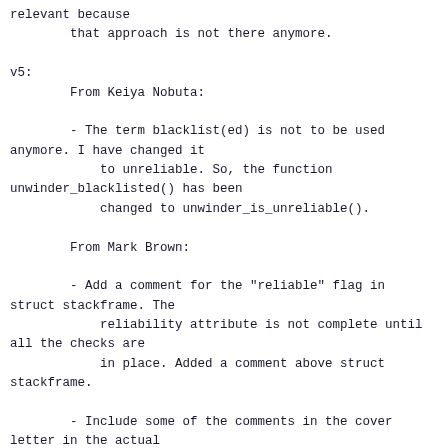relevant because
        that approach is not there anymore.

v5:
        From Keiya Nobuta:

        - The term blacklist(ed) is not to be used anymore. I have changed it
            to unreliable. So, the function unwinder_blacklisted() has been
            changed to unwinder_is_unreliable().

        From Mark Brown:

        - Add a comment for the "reliable" flag in struct stackframe. The
            reliability attribute is not complete until all the checks are
            in place. Added a comment above struct stackframe.

        - Include some of the comments in the cover letter in the actual
            code so that we can compare it with the reliable stack trace
            requirements document for completeness. I have added a comment:

                - above unwinder_is_unreliable() that lists the requirements